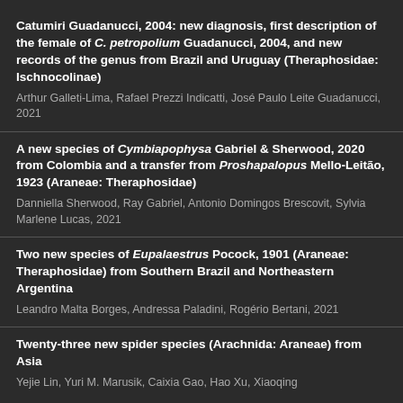Catumiri Guadanucci, 2004: new diagnosis, first description of the female of C. petropolium Guadanucci, 2004, and new records of the genus from Brazil and Uruguay (Theraphosidae: Ischnocolinae)
Arthur Galleti-Lima, Rafael Prezzi Indicatti, José Paulo Leite Guadanucci, 2021
A new species of Cymbiapophysa Gabriel & Sherwood, 2020 from Colombia and a transfer from Proshapalopus Mello-Leitão, 1923 (Araneae: Theraphosidae)
Danniella Sherwood, Ray Gabriel, Antonio Domingos Brescovit, Sylvia Marlene Lucas, 2021
Two new species of Eupalaestrus Pocock, 1901 (Araneae: Theraphosidae) from Southern Brazil and Northeastern Argentina
Leandro Malta Borges, Andressa Paladini, Rogério Bertani, 2021
Twenty-three new spider species (Arachnida: Araneae) from Asia
Yejie Lin, Yuri M. Marusik, Caixia Gao, Hao Xu, Xiaoqing